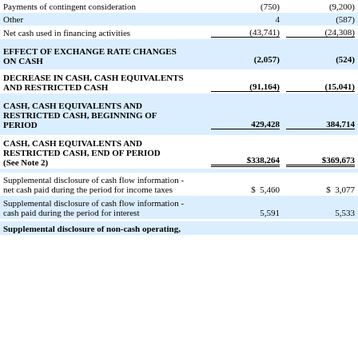|  |  |  |
| --- | --- | --- |
| Payments of contingent consideration | (750) | (9,200) |
| Other | 4 | (587) |
| Net cash used in financing activities | (43,741) | (24,308) |
| EFFECT OF EXCHANGE RATE CHANGES ON CASH | (2,057) | (524) |
| DECREASE IN CASH, CASH EQUIVALENTS AND RESTRICTED CASH | (91,164) | (15,041) |
| CASH, CASH EQUIVALENTS AND RESTRICTED CASH, BEGINNING OF PERIOD | 429,428 | 384,714 |
| CASH, CASH EQUIVALENTS AND RESTRICTED CASH, END OF PERIOD (See Note 2) | $338,264 | $369,673 |
| Supplemental disclosure of cash flow information - net cash paid during the period for income taxes | $ 5,460 | $ 3,077 |
| Supplemental disclosure of cash flow information - cash paid during the period for interest | 5,591 | 5,533 |
| Supplemental disclosure of non-cash operating, |  |  |